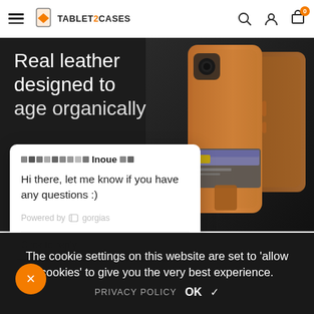TABLET2CASES — navigation bar with hamburger menu, logo, search, account, and cart (0) icons
[Figure (screenshot): Hero banner with dark background showing tan/brown leather phone case with card slot. Text reads: Real leather designed to age organically]
Real leather designed to age organically
[Figure (screenshot): Chat widget popup from Inoue saying: Hi there, let me know if you have any questions :) Powered by gorgias. Click to reply input.]
Hi there, let me know if you have any questions :)
Powered by gorgias
Click to reply
The cookie settings on this website are set to 'allow cookies' to give you the very best experience.
PRIVACY POLICY  OK  ✓